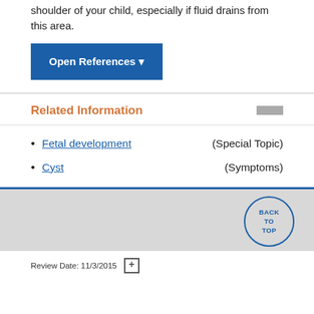shoulder of your child, especially if fluid drains from this area.
[Figure (other): Blue button labeled 'Open References' with a dropdown arrow]
Related Information
Fetal development (Special Topic)
Cyst (Symptoms)
[Figure (other): BACK TO TOP circular button]
Review Date: 11/3/2015